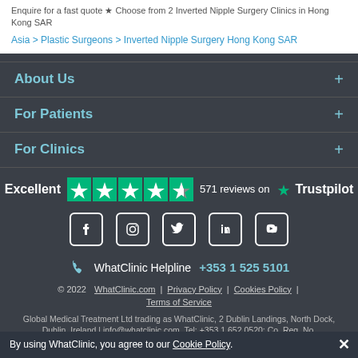Enquire for a fast quote ★ Choose from 2 Inverted Nipple Surgery Clinics in Hong Kong SAR
Asia > Plastic Surgeons > Inverted Nipple Surgery Hong Kong SAR
About Us
For Patients
For Clinics
[Figure (infographic): Trustpilot rating: Excellent, 4.5 stars, 571 reviews on Trustpilot]
[Figure (infographic): Social media icons: Facebook, Instagram, Twitter, LinkedIn, YouTube]
WhatClinic Helpline +353 1 525 5101
© 2022  WhatClinic.com  |  Privacy Policy  |  Cookies Policy  |  Terms of Service
Global Medical Treatment Ltd trading as WhatClinic, 2 Dublin Landings, North Dock, Dublin, Ireland | info@whatclinic.com, Tel: +353 1 652 0520; Co. Reg. No.
By using WhatClinic, you agree to our Cookie Policy.